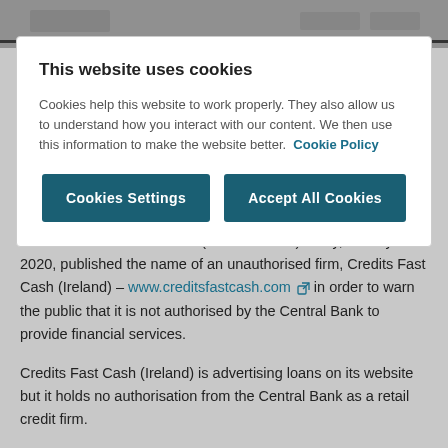[Figure (screenshot): Top navigation bar of a website, blurred/obscured]
This website uses cookies
Cookies help this website to work properly. They also allow us to understand how you interact with our content. We then use this information to make the website better. Cookie Policy
Cookies Settings | Accept All Cookies (buttons)
The Central Bank of Ireland ('Central Bank') today, 13 July 2020, published the name of an unauthorised firm, Credits Fast Cash (Ireland) – www.creditsfastcash.com in order to warn the public that it is not authorised by the Central Bank to provide financial services.
Credits Fast Cash (Ireland) is advertising loans on its website but it holds no authorisation from the Central Bank as a retail credit firm.